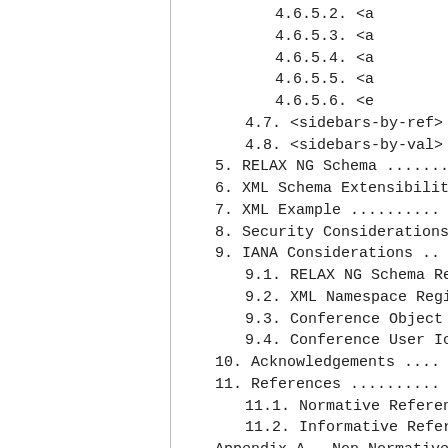4.6.5.2. <a
4.6.5.3. <a
4.6.5.4. <a
4.6.5.5. <a
4.6.5.6. <e
4.7. <sidebars-by-ref>
4.8. <sidebars-by-val>
5. RELAX NG Schema ......
6. XML Schema Extensibilit
7. XML Example ..........
8. Security Considerations
9. IANA Considerations ..
9.1. RELAX NG Schema Re
9.2. XML Namespace Regi
9.3. Conference Object
9.4. Conference User Ic
10. Acknowledgements ....
11. References ..........
11.1. Normative Referen
11.2. Informative Refer
Appendix A.  Non-Normative